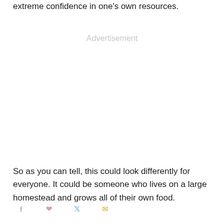extreme confidence in one's own resources.
[Figure (other): Advertisement placeholder block]
So as you can tell, this could look differently for everyone. It could be someone who lives on a large homestead and grows all of their own food.
[Figure (other): Social sharing icons: Facebook, Pinterest, Twitter, Email]